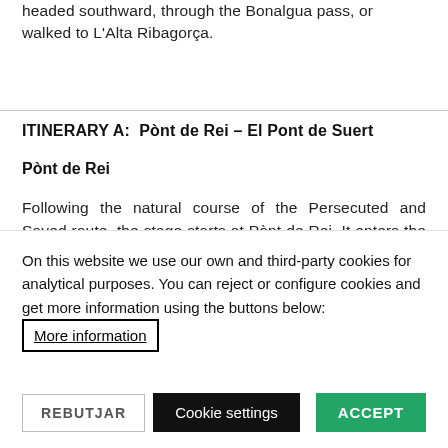headed southward, through the Bonalgua pass, or walked to L'Alta Ribagorça.
ITINERARY A:  Pònt de Rei – El Pont de Suert
Pònt de Rei
Following the natural course of the Persecuted and Saved route, the stage starts at Pònt de Rei. It enters the valley via the small French village of Fos, a settlement where it seems
On this website we use our own and third-party cookies for analytical purposes. You can reject or configure cookies and get more information using the buttons below:
More information
REBUTJAR
Cookie settings
ACCEPT